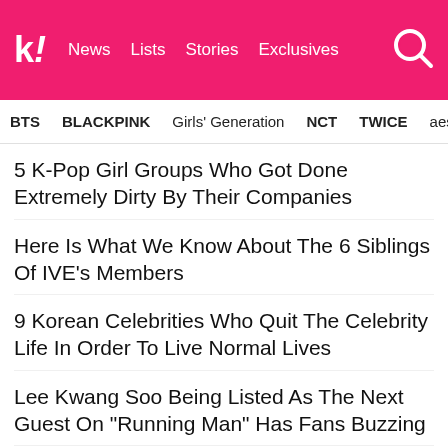Koreaboo | News | Lists | Stories | Exclusives
BTS   BLACKPINK   Girls' Generation   NCT   TWICE   aespa
5 K-Pop Girl Groups Who Got Done Extremely Dirty By Their Companies
Here Is What We Know About The 6 Siblings Of IVE's Members
9 Korean Celebrities Who Quit The Celebrity Life In Order To Live Normal Lives
Lee Kwang Soo Being Listed As The Next Guest On "Running Man" Has Fans Buzzing
Another Supposed Picture Of BLACKPINK's Jennie And BTS's V Is Leaked — This Time Together In V's Apartment
NEXT ARTICLE